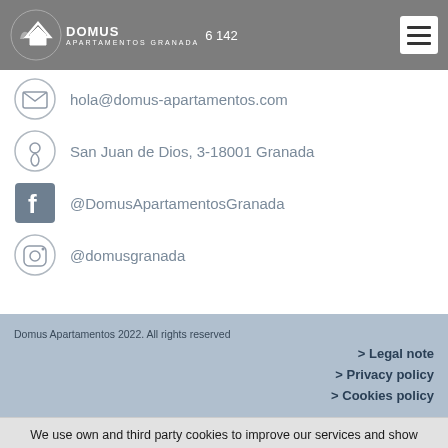DOMUS APARTAMENTOS GRANADA — 958 142 — Hamburger menu
hola@domus-apartamentos.com
San Juan de Dios, 3-18001 Granada
@DomusApartamentosGranada
@domusgranada
Domus Apartamentos 2022. All rights reserved
> Legal note
> Privacy policy
> Cookies policy
We use own and third party cookies to improve our services and show advertisements related to your preferences by analyzing your browsing habits. If you continue browsing, we consider that accepts its use. Close